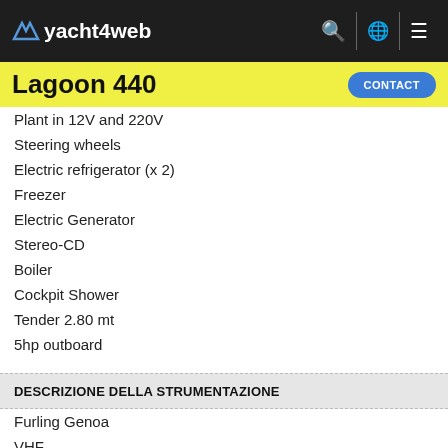yacht4web
Lagoon 440
Plant in 12V and 220V
Steering wheels
Electric refrigerator (x 2)
Freezer
Electric Generator
Stereo-CD
Boiler
Cockpit Shower
Tender 2.80 mt
5hp outboard
DESCRIZIONE DELLA STRUMENTAZIONE
Furling Genoa
VHF
LOG
Wind
Autopilot